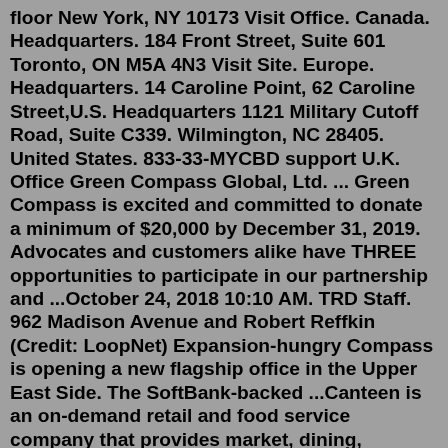floor New York, NY 10173 Visit Office. Canada. Headquarters. 184 Front Street, Suite 601 Toronto, ON M5A 4N3 Visit Site. Europe. Headquarters. 14 Caroline Point, 62 Caroline Street,U.S. Headquarters 1121 Military Cutoff Road, Suite C339. Wilmington, NC 28405. United States. 833-33-MYCBD support U.K. Office Green Compass Global, Ltd. ... Green Compass is excited and committed to donate a minimum of $20,000 by December 31, 2019. Advocates and customers alike have THREE opportunities to participate in our partnership and ...October 24, 2018 10:10 AM. TRD Staff. 962 Madison Avenue and Robert Reffkin (Credit: LoopNet) Expansion-hungry Compass is opening a new flagship office in the Upper East Side. The SoftBank-backed ...Canteen is an on-demand retail and food service company that provides market, dining, vending, coffee, and more solutions nationwide. But it's more than snacks, drinks, and fresh food. It's giving people exactly what they want, when and where they want it. So they can eat healthy,